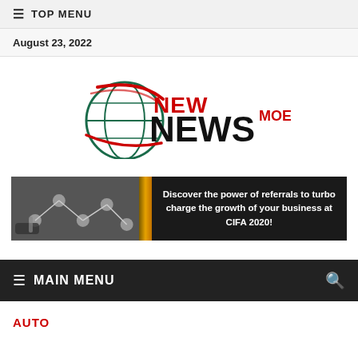≡ TOP MENU
August 23, 2022
[Figure (logo): NewNewsMoe logo with globe graphic, 'NEW' in red above 'NEWS' in black with 'MOE' in red superscript]
[Figure (infographic): Ad banner: left side dark photo of hand drawing network diagram, orange divider, right side black background with white bold text reading 'Discover the power of referrals to turbo charge the growth of your business at CIFA 2020!']
≡ MAIN MENU
AUTO